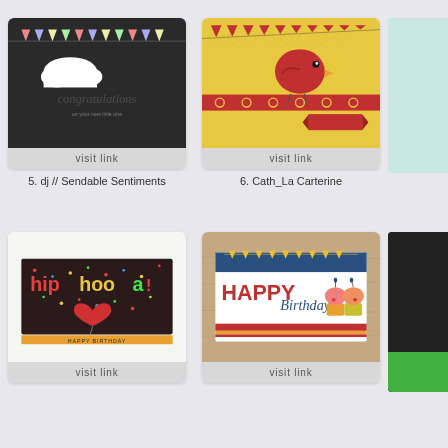[Figure (photo): Card 5 - dark chalkboard with congratulations text and bunting, white cloud cutout]
visit link
5. dj // Sendable Sentiments
[Figure (photo): Card 6 - yellow patterned background with red bird and bunting banner]
visit link
6. Cath_La Carterine
[Figure (photo): Card 7 - hip hooray birthday card with dark confetti background and orange stripe]
visit link
[Figure (photo): Card 8 - Happy Birthday card with cupcakes on wood background]
visit link